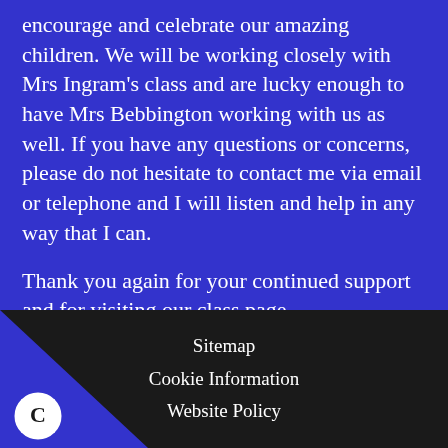encourage and celebrate our amazing children. We will be working closely with Mrs Ingram's class and are lucky enough to have Mrs Bebbington working with us as well. If you have any questions or concerns, please do not hesitate to contact me via email or telephone and I will listen and help in any way that I can.
Thank you again for your continued support and for visiting our class page.
Sitemap
Cookie Information
Website Policy